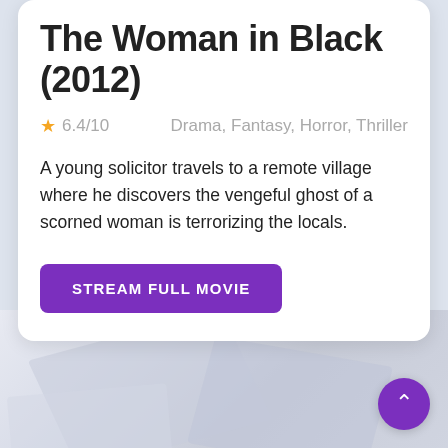The Woman in Black (2012)
6.4/10   Drama, Fantasy, Horror, Thriller
A young solicitor travels to a remote village where he discovers the vengeful ghost of a scorned woman is terrorizing the locals.
STREAM FULL MOVIE
[Figure (screenshot): Blurred abstract polygon background in grey/lavender tones forming the lower portion of the page, with a purple circular scroll-to-top chevron button in the bottom right corner.]